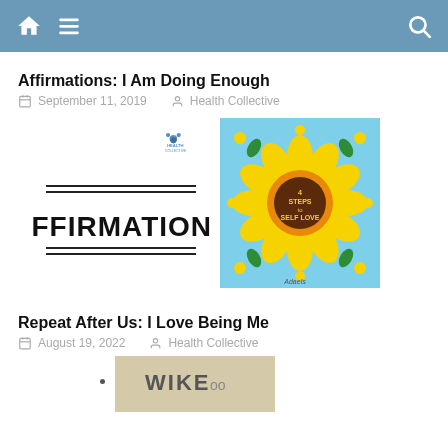Navigation bar with home, menu, and search icons
Affirmations: I Am Doing Enough
September 11, 2019  Health Collective
[Figure (illustration): Two images side by side: left shows black text 'AFFIRMATIONS' on white background with double underlines and a small bear logo; right shows a colorful illustration of a sunflower on light blue background with text 'Steps to Self Love' in the center and small flowers around.]
Repeat After Us: I Love Being Me
August 19, 2022  Health Collective
[Figure (illustration): Partial view of an illustration at bottom of page]